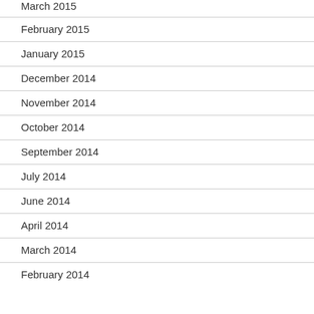March 2015 (partial, top cut off)
February 2015
January 2015
December 2014
November 2014
October 2014
September 2014
July 2014
June 2014
April 2014
March 2014
February 2014